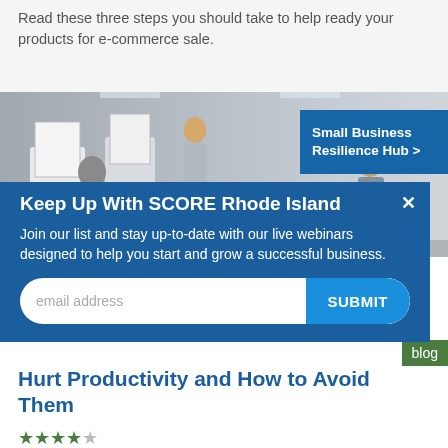Read these three steps you should take to help ready your products for e-commerce sale.
[Figure (photo): Office workers at computers, business/team environment]
Small Business Resilience Hub >
Keep Up With SCORE Rhode Island
Join our list and stay up-to-date with our live webinars designed to help you start and grow a successful business.
email address  SUBMIT
Hurt Productivity and How to Avoid Them
★★★★☆
Article Language: English